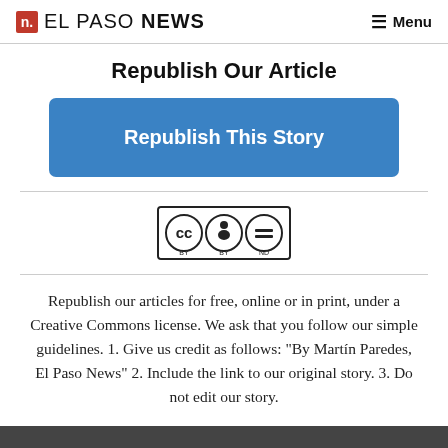n. EL PASO NEWS  Menu
Republish Our Article
Republish This Story
[Figure (logo): Creative Commons BY-ND license badge with CC, person, and equals icons]
Republish our articles for free, online or in print, under a Creative Commons license. We ask that you follow our simple guidelines. 1. Give us credit as follows: "By Martín Paredes, El Paso News" 2. Include the link to our original story. 3. Do not edit our story.